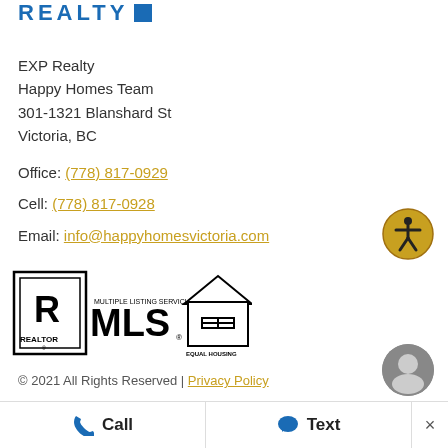[Figure (logo): EXP Realty logo with blue text and blue square]
EXP Realty
Happy Homes Team
301-1321 Blanshard St
Victoria, BC
Office: (778) 817-0929
Cell: (778) 817-0928
Email: info@happyhomesvictoria.com
[Figure (logo): REALTOR, MLS Multiple Listing Service, and Equal Housing Opportunity logos]
[Figure (logo): Accessibility icon - person in circle with gold background]
© 2021 All Rights Reserved | Privacy Policy
[Figure (other): Chat/support icon circular grey]
Call   Text   ×